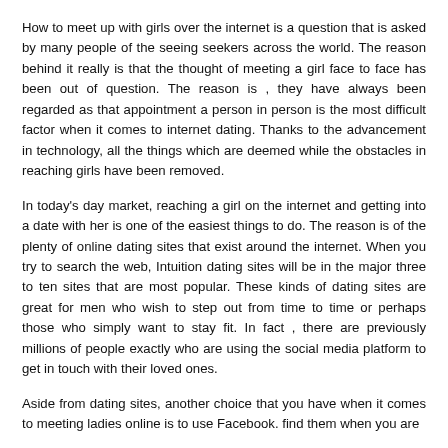How to meet up with girls over the internet is a question that is asked by many people of the seeing seekers across the world. The reason behind it really is that the thought of meeting a girl face to face has been out of question. The reason is , they have always been regarded as that appointment a person in person is the most difficult factor when it comes to internet dating. Thanks to the advancement in technology, all the things which are deemed while the obstacles in reaching girls have been removed.
In today's day market, reaching a girl on the internet and getting into a date with her is one of the easiest things to do. The reason is of the plenty of online dating sites that exist around the internet. When you try to search the web, Intuition dating sites will be in the major three to ten sites that are most popular. These kinds of dating sites are great for men who wish to step out from time to time or perhaps those who simply want to stay fit. In fact , there are previously millions of people exactly who are using the social media platform to get in touch with their loved ones.
Aside from dating sites, another choice that you have when it comes to meeting ladies online is to use Facebook. find them when you are...